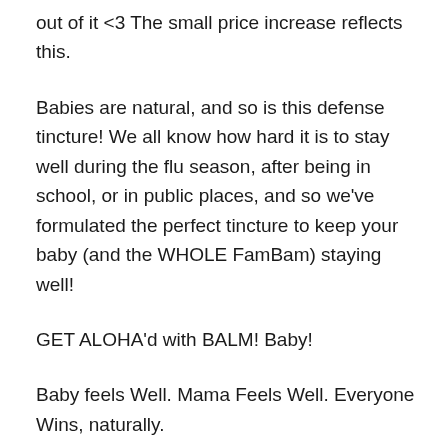out of it <3 The small price increase reflects this.
Babies are natural, and so is this defense tincture! We all know how hard it is to stay well during the flu season, after being in school, or in public places, and so we've formulated the perfect tincture to keep your baby (and the WHOLE FamBam) staying well!
GET ALOHA'd with BALM! Baby!
Baby feels Well. Mama Feels Well. Everyone Wins, naturally.
2 oz / 60 mL Glass with glass dropper
Quality, Inexpensive GIFT!
Organic & Natural, Hand Made in the USA
Safe for Babies!
Vegan